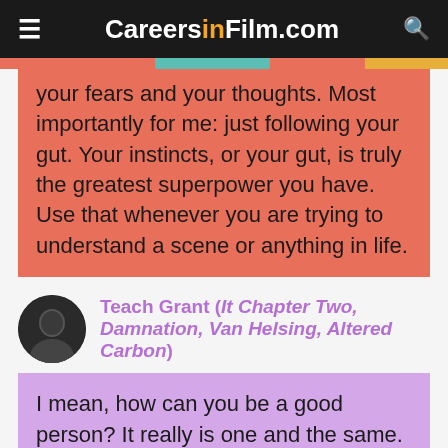CareersinFilm.com
your fears and your thoughts. Most importantly for me: just following your gut. Your instincts, or your gut, is truly the greatest superpower you have. Use that whenever you are trying to understand a scene or anything in life.
Teach Grant (It Chapter Two, Damnation, Van Helsing, Altered Carbon)
I mean, how can you be a good person? It really is one and the same. Art imitates life, you know? The definition of life is continued growth. So if you're not continuing to grow as an Actor, you're just dying a very